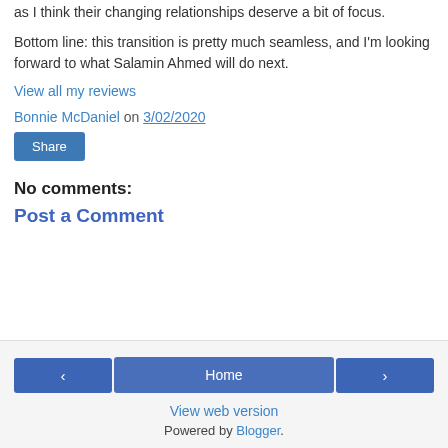as I think their changing relationships deserve a bit of focus.
Bottom line: this transition is pretty much seamless, and I'm looking forward to what Salamin Ahmed will do next.
View all my reviews
Bonnie McDaniel on 3/02/2020
Share
No comments:
Post a Comment
‹  Home  ›  View web version  Powered by Blogger.